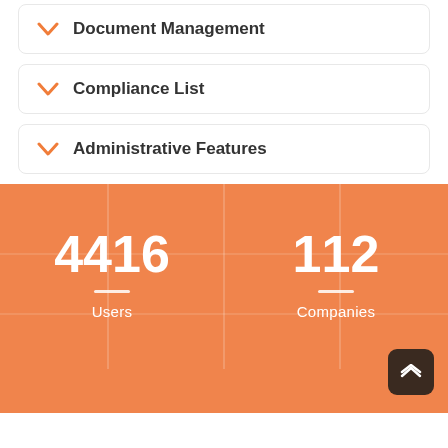Document Management
Compliance List
Administrative Features
4416 Users
112 Companies